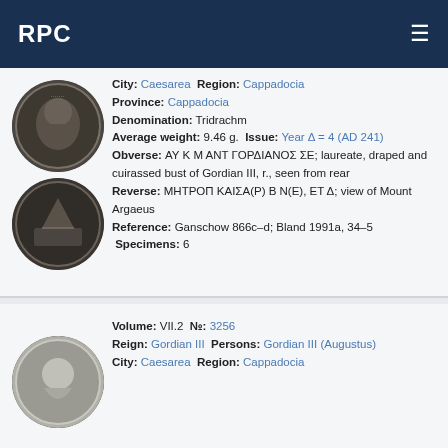RPC
[Figure (photo): Two ancient Roman provincial coins (obverse and reverse) of Gordian III from Caesarea, Cappadocia]
City: Caesarea  Region: Cappadocia
Province: Cappadocia
Denomination: Tridrachm
Average weight: 9.46 g.  Issue: Year Δ = 4 (AD 241)
Obverse: ΑΥ Κ Μ ΑΝΤ ΓΟΡΔΙΑΝΟΣ ΣΕ; laureate, draped and cuirassed bust of Gordian III, r., seen from rear
Reverse: ΜΗΤΡΟΠ ΚΑΙΣΑ(Ρ) Β Ν(Ε), ΕΤ Δ; view of Mount Argaeus
Reference: Ganschow 866c–d; Bland 1991a, 34–5  Specimens: 6
Volume: VII.2  №: 3256
Reign: Gordian III  Persons: Gordian III (Augustus)
City: Caesarea  Region: Cappadocia
[Figure (photo): Ancient Roman provincial coin (obverse) of Gordian III from Caesarea, Cappadocia]